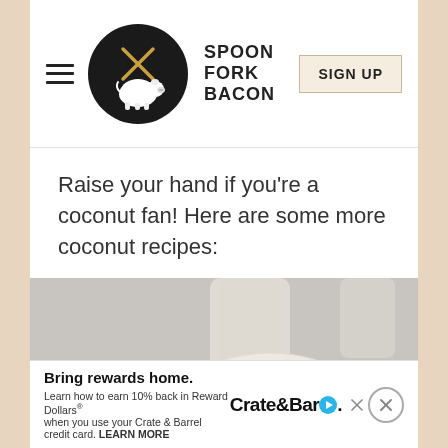SPOON FORK BACON | SIGN UP
Raise your hand if you're a coconut fan! Here are some more coconut recipes:
[Figure (photo): Top-down view of a frosted white coconut layer cake with swirled cream frosting, shown on a marble surface with a pink plate and fork visible on the left side, and a glass in the background.]
[Figure (screenshot): Advertisement banner for Crate & Barrel credit card rewards. Text reads: 'Bring rewards home. Learn how to earn 10% back in Reward Dollars when you use your Crate & Barrel credit card. LEARN MORE' with Crate & Barrel logo and close button.]